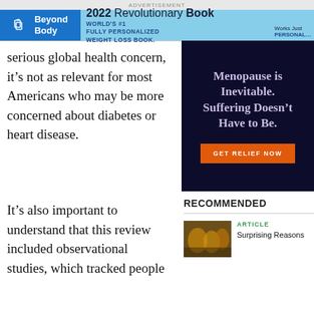[Figure (other): Beyond Body advertisement banner — 2022 Revolutionary Book, World's #1 Fully Personalized Weight Loss Book]
serious global health concern, it's not as relevant for most Americans who may be more concerned about diabetes or heart disease.
It's also important to understand that this review included observational studies, which tracked people
[Figure (other): Menopause advertisement: 'Menopause is Inevitable. Suffering Doesn't Have to Be.' with GET RELIEF NOW button]
RECOMMENDED
ARTICLE
Surprising Reasons